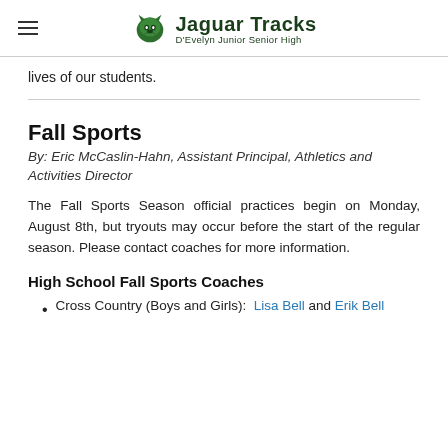Jaguar Tracks — D'Evelyn Junior Senior High
lives of our students.
Fall Sports
By:  Eric McCaslin-Hahn, Assistant Principal, Athletics and Activities Director
The Fall Sports Season official practices begin on Monday, August 8th, but tryouts may occur before the start of the regular season. Please contact coaches for more information.
High School Fall Sports Coaches
Cross Country (Boys and Girls):  Lisa Bell and Erik Bell